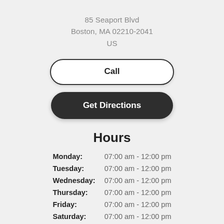85 Seaport Blvd
Boston, MA 02210-2041
US
Call
Get Directions
Hours
| Day | Hours |
| --- | --- |
| Monday: | 07:00 am - 12:00 pm |
| Tuesday: | 07:00 am - 12:00 pm |
| Wednesday: | 07:00 am - 12:00 pm |
| Thursday: | 07:00 am - 12:00 pm |
| Friday: | 07:00 am - 12:00 pm |
| Saturday: | 07:00 am - 12:00 pm |